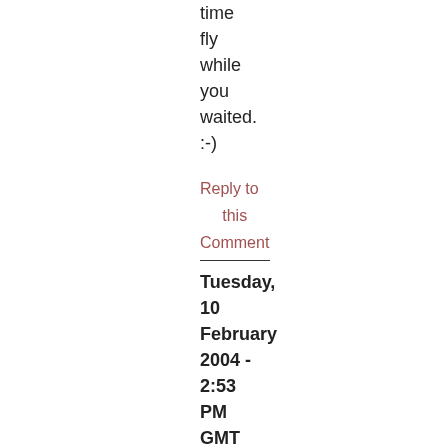time fly while you waited. :-)
Reply to this Comment
Tuesday, 10 February 2004 - 2:53 PM GMT
Name: yidaho Home Page: http://www.yidaho.com/mt
Oh yes, I'm